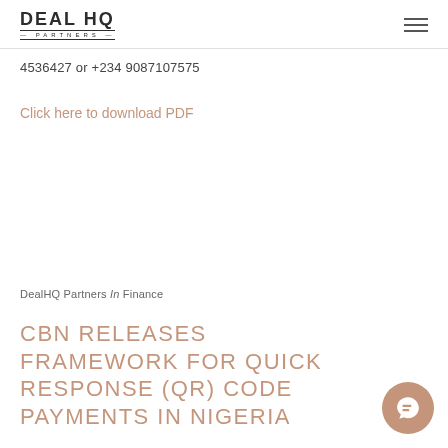DEAL HQ PARTNERS
4536427 or +234 9087107575
Click here to download PDF
DealHQ Partners In Finance
CBN RELEASES FRAMEWORK FOR QUICK RESPONSE (QR) CODE PAYMENTS IN NIGERIA